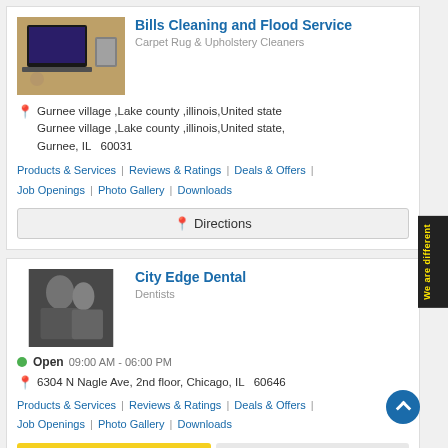[Figure (photo): Color photo of a laptop and coffee on a wooden desk]
Bills Cleaning and Flood Service
Carpet Rug & Upholstery Cleaners
Gurnee village ,Lake county ,illinois,United state Gurnee village ,Lake county ,illinois,United state, Gurnee, IL  60031
Products & Services | Reviews & Ratings | Deals & Offers | Job Openings | Photo Gallery | Downloads
Directions
[Figure (photo): Black and white photo of people sitting at a table]
City Edge Dental
Dentists
Open  09:00 AM - 06:00 PM
6304 N Nagle Ave, 2nd floor, Chicago, IL  60646
Products & Services | Reviews & Ratings | Deals & Offers | Job Openings | Photo Gallery | Downloads